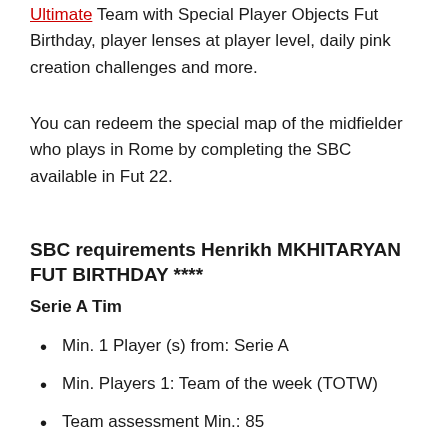Ultimate Team with Special Player Objects Fut Birthday, player lenses at player level, daily pink creation challenges and more.
You can redeem the special map of the midfielder who plays in Rome by completing the SBC available in Fut 22.
SBC requirements Henrikh MKHITARYAN FUT BIRTHDAY ****
Serie A Tim
Min. 1 Player (s) from: Serie A
Min. Players 1: Team of the week (TOTW)
Team assessment Min.: 85